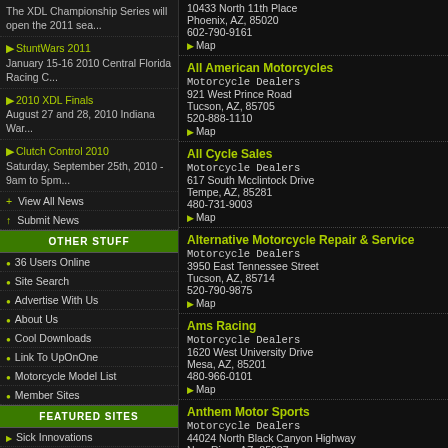The XDL Championship Series will open the 2011 sea...
StuntWars 2011 - January 15-16 2010 Central Florida Racing C...
2010 XDL Finals - August 27 and 28, 2010 Indiana War...
Clutch Control 2010 - Saturday, September 25th, 2010 - 9am to 5pm...
+ View All News
↑ Submit News
OTHER STUFF
36 Users Online
Site Search
Advertise With Us
About Us
Cool Downloads
Link To UpOnOne
Motorcycle Model List
Member Sites
FEATURED SITES
Sick Innovations
TeachTrix.com
ChopperTown.com NEW!
HoHey Designs
StuntRide.com
10433 North 11th Place
Phoenix, AZ, 85020
602-790-9161
Map
All American Motorcycles
Motorcycle Dealers
921 West Prince Road
Tucson, AZ, 85705
520-888-1110
Map
All Cycle Sales
Motorcycle Dealers
617 South Mcclintock Drive
Tempe, AZ, 85281
480-731-9003
Map
Alternative Motorcycle Repair & Service
Motorcycle Dealers
3950 East Tennessee Street
Tucson, AZ, 85714
520-790-9875
Map
Ams Racing
Motorcycle Dealers
1620 West University Drive
Mesa, AZ, 85201
480-966-0101
Map
Anthem Motor Sports
Motorcycle Dealers
44024 North Black Canyon Highway
New River, AZ, 85087
623-465-7777
Map
Apache Honda-Yamaha-Suzuki
Motorcycle Dealers